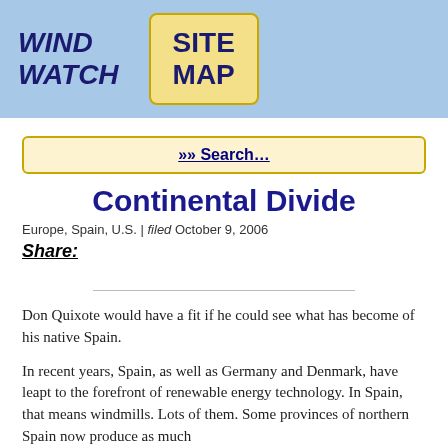WIND WATCH   SITE MAP
»» Search…
Continental Divide
Europe, Spain, U.S. | filed October 9, 2006
Share:
Don Quixote would have a fit if he could see what has become of his native Spain.
In recent years, Spain, as well as Germany and Denmark, have leapt to the forefront of renewable energy technology. In Spain, that means windmills. Lots of them. Some provinces of northern Spain now produce as much